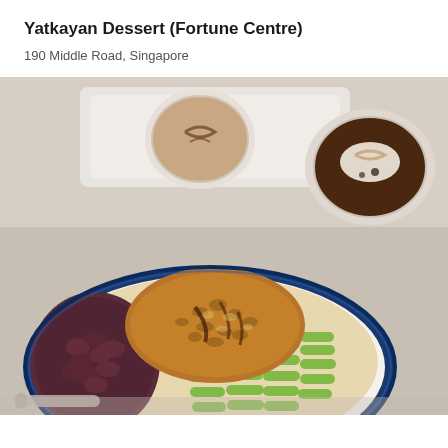Yatkayan Dessert (Fortune Centre)
190 Middle Road, Singapore
[Figure (photo): A bowl of dessert with green grass jelly strips, red beans, crispy peanut topping with syrup, served in a blue-rimmed enamel bowl. In the background are two cups of hot drinks with latte art on a white tray, set on a light-colored table.]